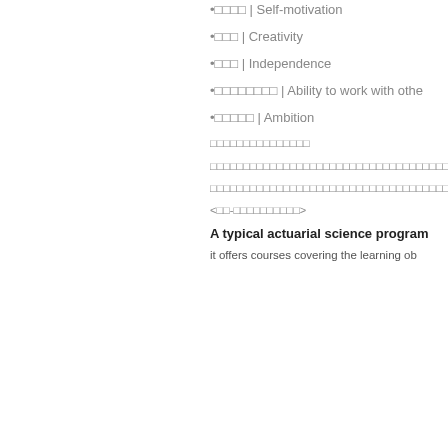•□□□□ | Self-motivation
•□□□ | Creativity
•□□□ | Independence
•□□□□□□□□ | Ability to work with othe
•□□□□□ | Ambition
□□□□□□□□□□□□□□□
□□□□□□□□□□□□□□□□□□□□□□□□□□□□□□□□□□□□□□□
□□□□□□□□□□□□□□□□□□□□□□□□□□□□□□□□□□□□□□□
<□□-□□□□□□□□□□>
A typical actuarial science program
it offers courses covering the learning ob